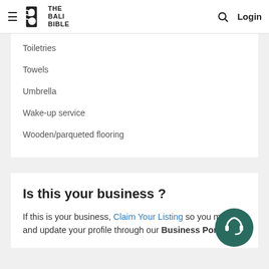THE BALI BIBLE | Login
Toiletries
Towels
Umbrella
Wake-up service
Wooden/parqueted flooring
Is this your business ?
If this is your business, Claim Your Listing so you manage and update your profile through our Business Portal